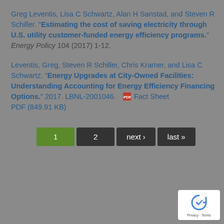Greg Leventis, Lisa C Schwartz, Alan H Sanstad, and Steven R Schiller. "Estimating the cost of saving electricity through U.S. utility customer-funded energy efficiency programs." Energy Policy 104 (2017) 1-12.
Leventis, Greg, Steven R Schiller, Chris Kramer, and Lisa C Schwartz. "Energy Upgrades at City-Owned Facilities: Understanding Accounting for Energy Efficiency Financing Options." 2017. LBNL-2001046. [PDF icon] Fact Sheet PDF (849.91 KB)
[Figure (other): Pagination navigation bar with buttons: 1 (active, green), 2, next ›, last »]
[Figure (other): Google reCAPTCHA badge with logo and Privacy - Terms text]